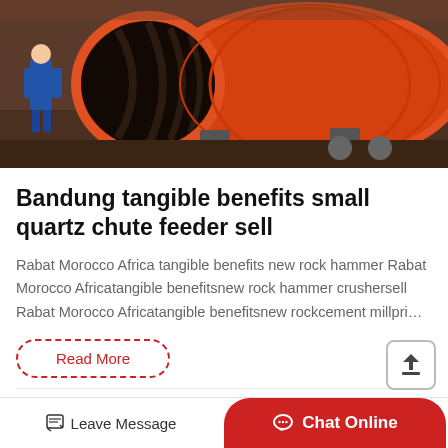[Figure (photo): Industrial rotary kiln or drum mill painted orange/red, with a worker in blue overalls standing beside it. The drum is open at one end revealing internal blades/lifters. Industrial machinery setting.]
Bandung tangible benefits small quartz chute feeder sell
Rabat Morocco Africa tangible benefits new rock hammer Rabat Morocco Africatangible benefitsnew rock hammer crushersell Rabat Morocco Africatangible benefitsnew rockcement millpri…
Read More
[Figure (photo): Partial view of another article image at the bottom, showing green/dark industrial or natural scenery.]
Leave Message
Chat Online